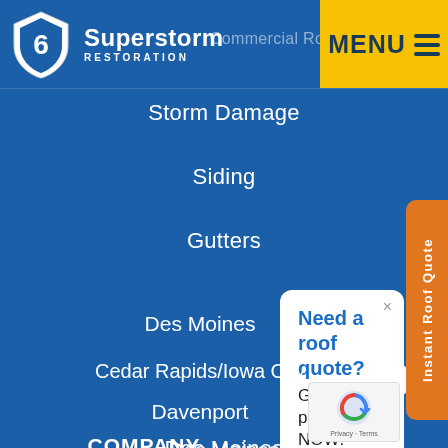[Figure (logo): Superstorm Restoration logo with shield icon on blue background, and yellow MENU button with hamburger icon in top right]
Commercial Roofing
Storm Damage
Siding
Gutters
Need a roof quote? Get your price NOW!
Des Moines
Cedar Rapids/Iowa City
Davenport
COMPANY
Instant Roof Quote
[Figure (other): reCAPTCHA badge with Privacy and Terms links]